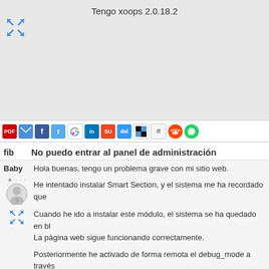Tengo xoops 2.0.18.2
[Figure (screenshot): Expand/fullscreen icon (blue arrows) in top left corner of gray section]
[Figure (infographic): Row of social media sharing icons: PDF, email, Facebook, Twitter, Google, LinkedIn, StumbleUpon, Delicious, friendfeed, Reddit, WhatsApp]
fib    No puedo entrar al panel de administración
Baby    Hola buenas, tengo un problema grave con mi sitio web.
He intentado instalar Smart Section, y el sistema me ha recordado que
Cuando he ido a instalar este módulo, el sistema se ha quedado en bl...
La página web sigue funcionando correctamente.
Posteriormente he activado de forma remota el debug_mode a través
Xoops_config.
Este es el error que me da:
Notice: Undefined index: tag in file /modules/xlanguage/include/functio